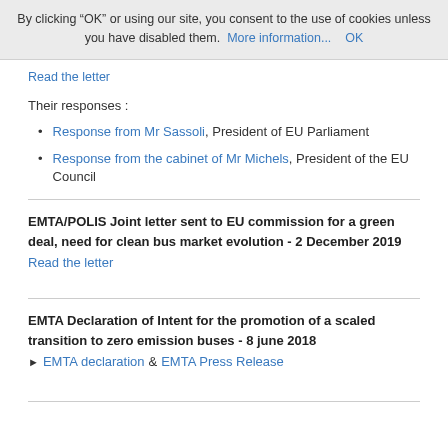By clicking “OK” or using our site, you consent to the use of cookies unless you have disabled them. More information... OK
Read the letter
Their responses :
Response from Mr Sassoli, President of EU Parliament
Response from the cabinet of Mr Michels, President of the EU Council
EMTA/POLIS Joint letter sent to EU commission for a green deal, need for clean bus market evolution - 2 December 2019
Read the letter
EMTA Declaration of Intent for the promotion of a scaled transition to zero emission buses - 8 june 2018
EMTA declaration & EMTA Press Release